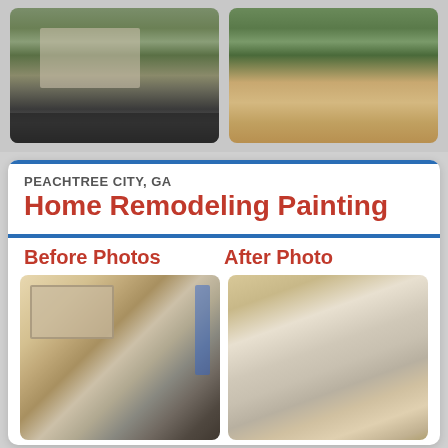[Figure (photo): Exterior photo of a house with green landscaping and a driveway, rounded corners]
[Figure (photo): Outdoor landscape/garden photo with stone edging and pavement]
PEACHTREE CITY, GA
Home Remodeling Painting
Before Photos
After Photo
[Figure (photo): Before photo: a person spray painting kitchen cabinets, blue painter's tape visible]
[Figure (photo): After photo: painted interior ceiling/trim with beige protective covering]